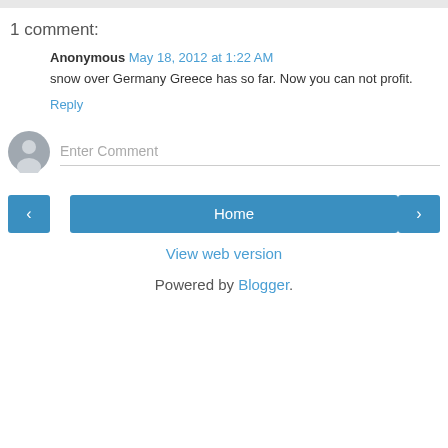1 comment:
Anonymous May 18, 2012 at 1:22 AM
snow over Germany Greece has so far. Now you can not profit.
Reply
[Figure (illustration): Comment input area with avatar icon and Enter Comment placeholder text]
Home
View web version
Powered by Blogger.